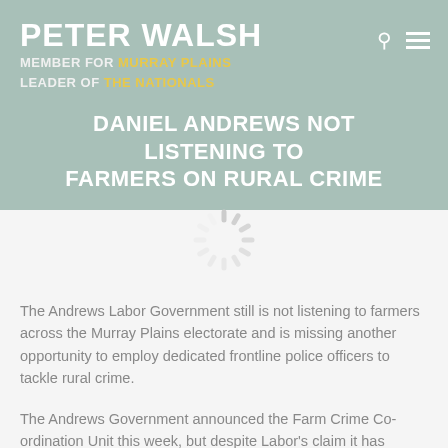PETER WALSH
MEMBER FOR MURRAY PLAINS
LEADER OF THE NATIONALS
DANIEL ANDREWS NOT LISTENING TO FARMERS ON RURAL CRIME
[Figure (other): Loading spinner / ajax loader icon in light grey]
The Andrews Labor Government still is not listening to farmers across the Murray Plains electorate and is missing another opportunity to employ dedicated frontline police officers to tackle rural crime.
The Andrews Government announced the Farm Crime Co-ordination Unit this week, but despite Labor's claim it has created 70 new positions, in reality it has